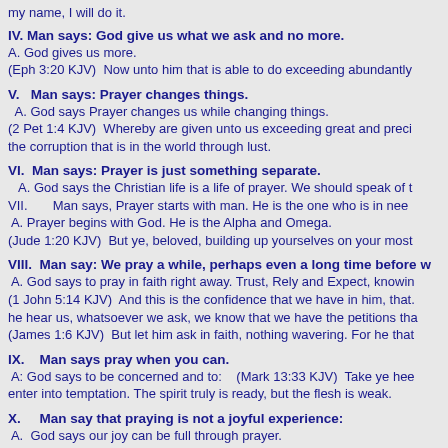my name, I will do it.
IV. Man says: God give us what we ask and no more.
A. God gives us more.
(Eph 3:20 KJV)  Now unto him that is able to do exceeding abundantly
V.   Man says: Prayer changes things.
A. God says Prayer changes us while changing things.
(2 Pet 1:4 KJV)  Whereby are given unto us exceeding great and preci the corruption that is in the world through lust.
VI.  Man says: Prayer is just something separate.
A. God says the Christian life is a life of prayer. We should speak of t
VII.       Man says, Prayer starts with man. He is the one who is in nee
 A. Prayer begins with God. He is the Alpha and Omega.
(Jude 1:20 KJV)  But ye, beloved, building up yourselves on your most
VIII.  Man say: We pray a while, perhaps even a long time before w
A. God says to pray in faith right away. Trust, Rely and Expect, knowin
(1 John 5:14 KJV)  And this is the confidence that we have in him, that. he hear us, whatsoever we ask, we know that we have the petitions tha
(James 1:6 KJV)  But let him ask in faith, nothing wavering. For he that
IX.    Man says pray when you can.
A: God says to be concerned and to:    (Mark 13:33 KJV)  Take ye hee enter into temptation. The spirit truly is ready, but the flesh is weak.
X.     Man say that praying is not a joyful experience:
A.  God says our joy can be full through prayer.
(John 16:24 KJV)  Hitherto have ye asked nothing in my name: ask, an